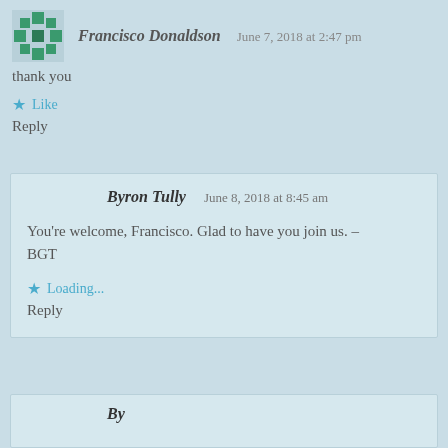Francisco Donaldson — June 7, 2018 at 2:47 pm
thank you
★ Like
Reply
Byron Tully — June 8, 2018 at 8:45 am
You're welcome, Francisco. Glad to have you join us. – BGT
★ Loading...
Reply